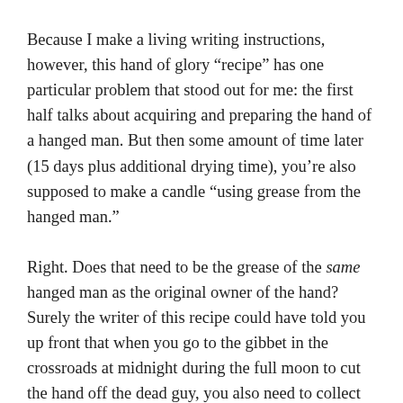Because I make a living writing instructions, however, this hand of glory “recipe” has one particular problem that stood out for me: the first half talks about acquiring and preparing the hand of a hanged man. But then some amount of time later (15 days plus additional drying time), you’re also supposed to make a candle “using grease from the hanged man.”
Right. Does that need to be the grease of the same hanged man as the original owner of the hand? Surely the writer of this recipe could have told you up front that when you go to the gibbet in the crossroads at midnight during the full moon to cut the hand off the dead guy, you also need to collect some grease as well while you’re there (ew)? And